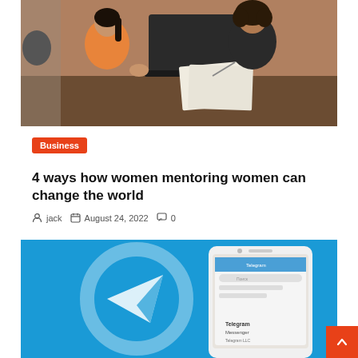[Figure (photo): Two women sitting at a desk, one in an orange sweater with dark hair, one in a dark sweater with curly hair, with a laptop and papers on the desk between them, in an office setting.]
Business
4 ways how women mentoring women can change the world
jack   August 24, 2022   0
[Figure (photo): Telegram messenger app logo (blue circle with white paper plane) on a blue background, with a white smartphone showing the Telegram Messenger app login screen in the foreground.]